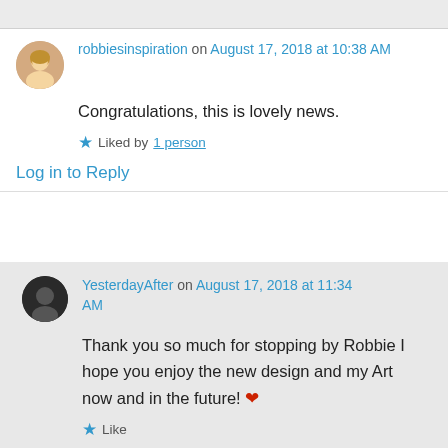robbiesinspiration on August 17, 2018 at 10:38 AM
Congratulations, this is lovely news.
Liked by 1 person
Log in to Reply
YesterdayAfter on August 17, 2018 at 11:34 AM
Thank you so much for stopping by Robbie I hope you enjoy the new design and my Art now and in the future! ❤
Like